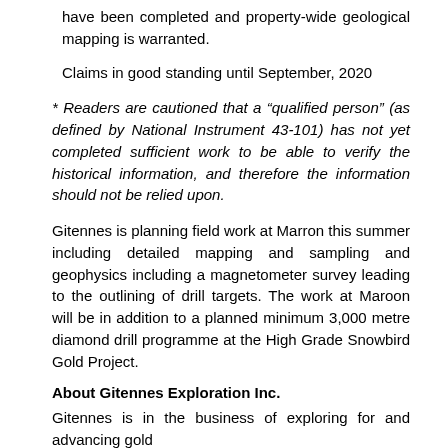have been completed and property-wide geological mapping is warranted.
Claims in good standing until September, 2020
* Readers are cautioned that a “qualified person” (as defined by National Instrument 43-101) has not yet completed sufficient work to be able to verify the historical information, and therefore the information should not be relied upon.
Gitennes is planning field work at Marron this summer including detailed mapping and sampling and geophysics including a magnetometer survey leading to the outlining of drill targets. The work at Maroon will be in addition to a planned minimum 3,000 metre diamond drill programme at the High Grade Snowbird Gold Project.
About Gitennes Exploration Inc.
Gitennes is in the business of exploring for and advancing gold